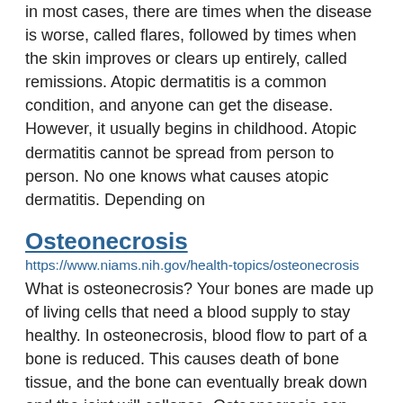in most cases, there are times when the disease is worse, called flares, followed by times when the skin improves or clears up entirely, called remissions. Atopic dermatitis is a common condition, and anyone can get the disease. However, it usually begins in childhood. Atopic dermatitis cannot be spread from person to person. No one knows what causes atopic dermatitis. Depending on
Osteonecrosis
https://www.niams.nih.gov/health-topics/osteonecrosis
What is osteonecrosis? Your bones are made up of living cells that need a blood supply to stay healthy. In osteonecrosis, blood flow to part of a bone is reduced. This causes death of bone tissue, and the bone can eventually break down and the joint will collapse. Osteonecrosis can happen to any bone, but most often it develops in the ends of long bones, such as the: Thigh bone. Upper arm bone. Less often, the bones of the elbows, ankles, feet, wrists, and hands are affected. When the disease involves part of a bone in a joint, it can
Paget’s Disease of Bone
https://www.niams.nih.gov/health-topics/pagets-disease-bone
What is Paget’s disease? Paget’s disease of bone is a chronic (long-lasting) disorder that causes bones to grow larger and become